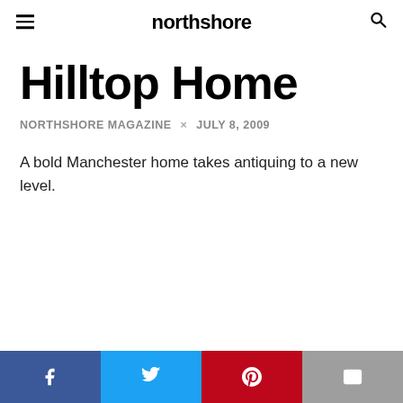northshore
Hilltop Home
NORTHSHORE MAGAZINE × JULY 8, 2009
A bold Manchester home takes antiquing to a new level.